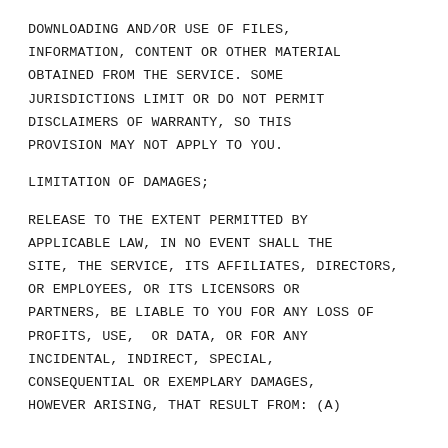DOWNLOADING AND/OR USE OF FILES, INFORMATION, CONTENT OR OTHER MATERIAL OBTAINED FROM THE SERVICE. SOME JURISDICTIONS LIMIT OR DO NOT PERMIT DISCLAIMERS OF WARRANTY, SO THIS PROVISION MAY NOT APPLY TO YOU.
LIMITATION OF DAMAGES;
RELEASE TO THE EXTENT PERMITTED BY APPLICABLE LAW, IN NO EVENT SHALL THE SITE, THE SERVICE, ITS AFFILIATES, DIRECTORS, OR EMPLOYEES, OR ITS LICENSORS OR PARTNERS, BE LIABLE TO YOU FOR ANY LOSS OF PROFITS, USE, OR DATA, OR FOR ANY INCIDENTAL, INDIRECT, SPECIAL, CONSEQUENTIAL OR EXEMPLARY DAMAGES, HOWEVER ARISING, THAT RESULT FROM: (A)